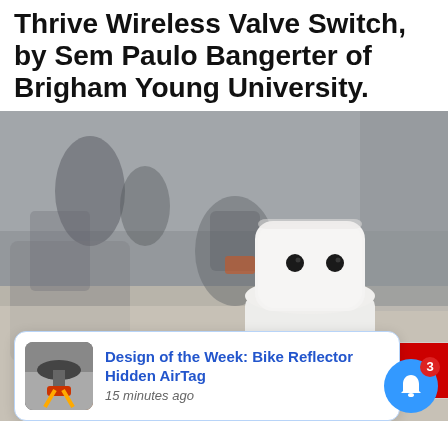Thrive Wireless Valve Switch, by Sem Paulo Bangerter of Brigham Young University.
[Figure (photo): A small white robot with a square head and two black dot eyes sitting on a table in a robotics lab environment, with blurred people and other robots in the background. A cookie consent banner overlays the bottom of the image with text 'We use cookies and other technique' with an X button and a red OK button.]
We use cookies and other technique
Design of the Week: Bike Reflector Hidden AirTag
15 minutes ago